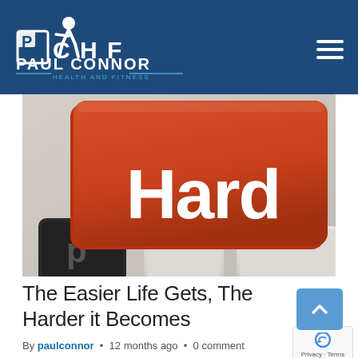Paul Connor Health and Fitness
[Figure (photo): Close-up photo of a red keyboard key labeled 'Hard' in white bold text, with beige/white keys visible in the background and foreground]
The Easier Life Gets, The Harder it Becomes
By paulconnor • 12 months ago • 0 comment